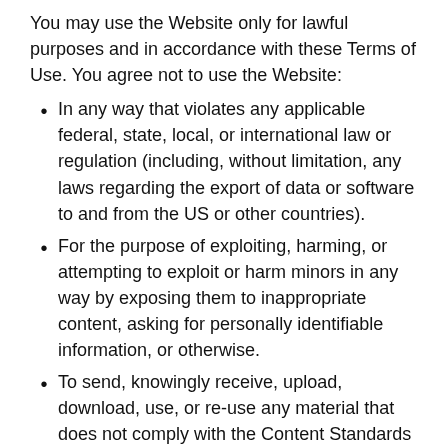You may use the Website only for lawful purposes and in accordance with these Terms of Use. You agree not to use the Website:
In any way that violates any applicable federal, state, local, or international law or regulation (including, without limitation, any laws regarding the export of data or software to and from the US or other countries).
For the purpose of exploiting, harming, or attempting to exploit or harm minors in any way by exposing them to inappropriate content, asking for personally identifiable information, or otherwise.
To send, knowingly receive, upload, download, use, or re-use any material that does not comply with the Content Standards set out in these Terms of Use.
To transmit, or procure the sending of, any